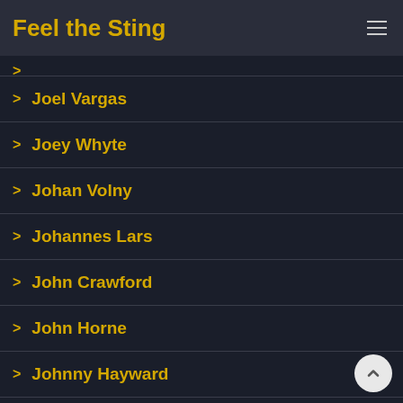Feel the Sting
> Joel Vargas
> Joey Whyte
> Johan Volny
> Johannes Lars
> John Crawford
> John Horne
> Johnny Hayward
> Johnny Jenkins
> Johnny Reed
> Johnny Stone
> Jonah Winter